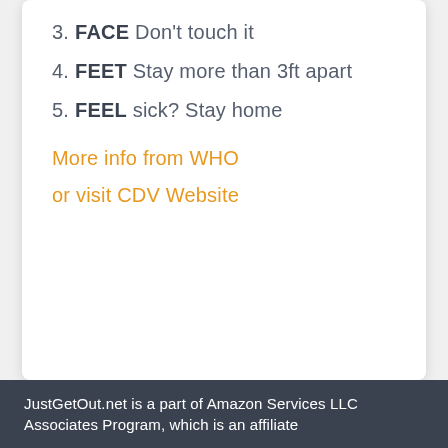3. FACE Don't touch it
4. FEET Stay more than 3ft apart
5. FEEL sick? Stay home
More info from WHO
or visit CDV Website
JustGetOut.net is a part of Amazon Services LLC Associates Program, which is an affiliate